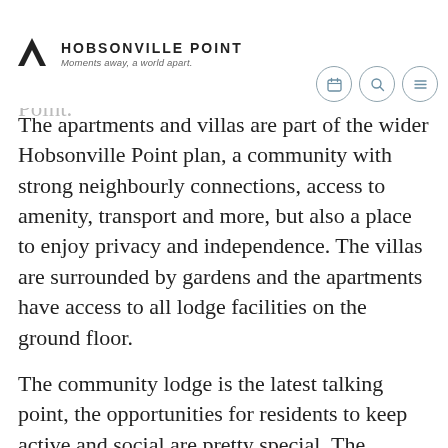Hobsonville Point — Moments away, a world apart.
It's a village within a village. The sense of 'village community' is woven into the overall concept of Waterford on Hobsonville Point.
The apartments and villas are part of the wider Hobsonville Point plan, a community with strong neighbourly connections, access to amenity, transport and more, but also a place to enjoy privacy and independence. The villas are surrounded by gardens and the apartments have access to all lodge facilities on the ground floor.
The community lodge is the latest talking point, the opportunities for residents to keep active and social are pretty special. The wellness spaces in the lodge include a beauty salon with the luxury of a spa day. On weekends, residents and their visitors head to the onsite café where the brunch and dinner menu ranges from comfort food to something more sophisticated.
Individual and group activities are available on a regular basis; residents can swim a few lengths in the